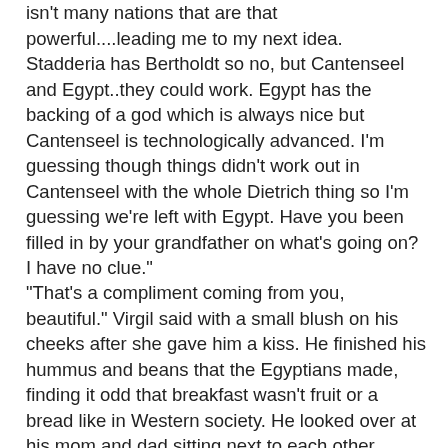isn't many nations that are that powerful....leading me to my next idea. Stadderia has Bertholdt so no, but Cantenseel and Egypt..they could work. Egypt has the backing of a god which is always nice but Cantenseel is technologically advanced. I'm guessing though things didn't work out in Cantenseel with the whole Dietrich thing so I'm guessing we're left with Egypt. Have you been filled in by your grandfather on what's going on? I have no clue."
"That's a compliment coming from you, beautiful." Virgil said with a small blush on his cheeks after she gave him a kiss. He finished his hummus and beans that the Egyptians made, finding it odd that breakfast wasn't fruit or a bread like in Western society. He looked over at his mom and dad sitting next to each other, smiling as he saw Tiras trying to make Felicia laugh with his terrible jokes. He looked over at Rudolf bullying Veron again, flexing his muscles in front of Evan and Veron and then looked over to Remi